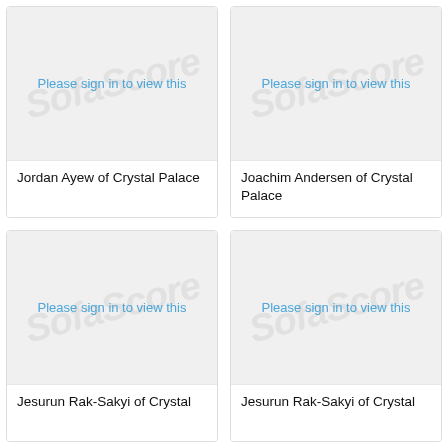[Figure (photo): Placeholder card image with 'Please sign in to view this' message for Jordan Ayew of Crystal Palace]
Jordan Ayew of Crystal Palace
[Figure (photo): Placeholder card image with 'Please sign in to view this' message for Joachim Andersen of Crystal Palace]
Joachim Andersen of Crystal Palace
[Figure (photo): Placeholder card image with 'Please sign in to view this' message for Jesurun Rak-Sakyi of Crystal Palace]
Jesurun Rak-Sakyi of Crystal Palace
[Figure (photo): Placeholder card image with 'Please sign in to view this' message for Jesurun Rak-Sakyi of Crystal Palace]
Jesurun Rak-Sakyi of Crystal Palace